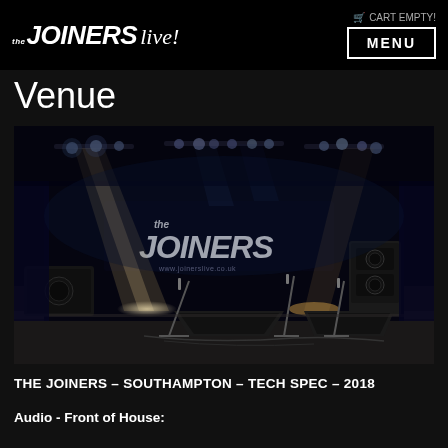the JOINERS live! | CART EMPTY! | MENU
Venue
[Figure (photo): Interior photo of The Joiners music venue stage with blue stage lighting, a large 'the joiners' banner/backdrop, microphone stands, and speaker monitors on stage. The venue is dimly lit with dramatic spotlights.]
THE JOINERS – SOUTHAMPTON – TECH SPEC – 2018
Audio - Front of House: